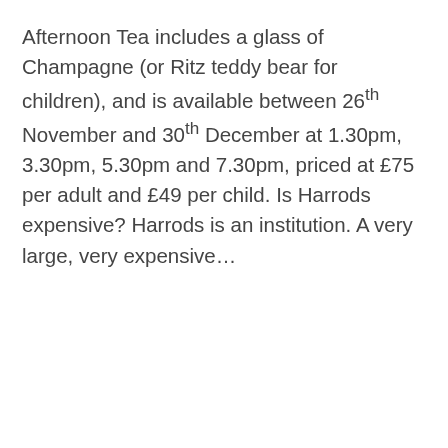Afternoon Tea includes a glass of Champagne (or Ritz teddy bear for children), and is available between 26th November and 30th December at 1.30pm, 3.30pm, 5.30pm and 7.30pm, priced at £75 per adult and £49 per child. Is Harrods expensive? Harrods is an institution. A very large, very expensive…
Philip Alexander
Professor
Queen Victoria Letters To Prince Albert
Did Albert and Victoria have a good marriage? As Queen Victoria's journal shows, from the moment she saw the prince arriving at the foot of the staircase at Windsor in 1839, she was smitten.Five days later she was said to have...